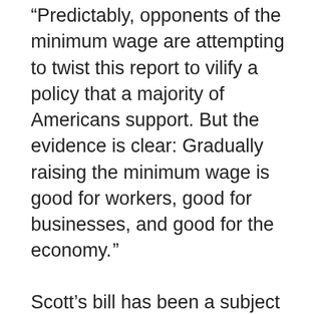“Predictably, opponents of the minimum wage are attempting to twist this report to vilify a policy that a majority of Americans support. But the evidence is clear: Gradually raising the minimum wage is good for workers, good for businesses, and good for the economy.”
Scott’s bill has been a subject of intense internal debate among Democrats. More than a dozen moderate members favor a competing proposal by Rep. Terri Sewell (D-Ala.) that would allow for lower wages in rural areas, an idea that prompted a backlash from the